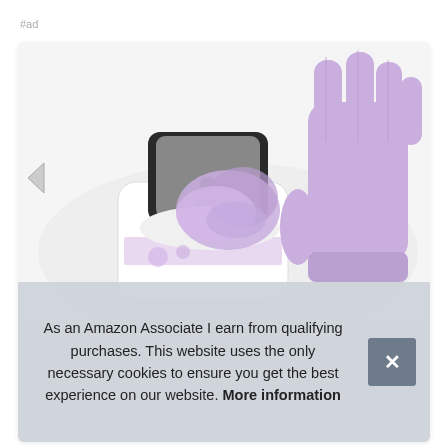#ad
[Figure (photo): Product photo showing an open black wipes container with a purple/lavender glove or wipe being pulled out, next to a purple nitrile-gloved hand raised palm forward, on a white background.]
As an Amazon Associate I earn from qualifying purchases. This website uses the only necessary cookies to ensure you get the best experience on our website. More information